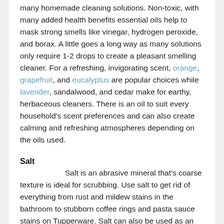many homemade cleaning solutions. Non-toxic, with many added health benefits essential oils help to mask strong smells like vinegar, hydrogen peroxide, and borax. A little goes a long way as many solutions only require 1-2 drops to create a pleasant smelling cleaner. For a refreshing, invigorating scent, orange, grapefruit, and eucalyptus are popular choices while lavender, sandalwood, and cedar make for earthy, herbaceous cleaners. There is an oil to suit every household's scent preferences and can also create calming and refreshing atmospheres depending on the oils used.
Salt
Salt is an abrasive mineral that's coarse texture is ideal for scrubbing. Use salt to get rid of everything from rust and mildew stains in the bathroom to stubborn coffee rings and pasta sauce stains on Tupperware. Salt can also be used as an ingredient in coper and silver polish. To use, blend with a few drops of liquid castile soap to make a paste and apply to the affected area with